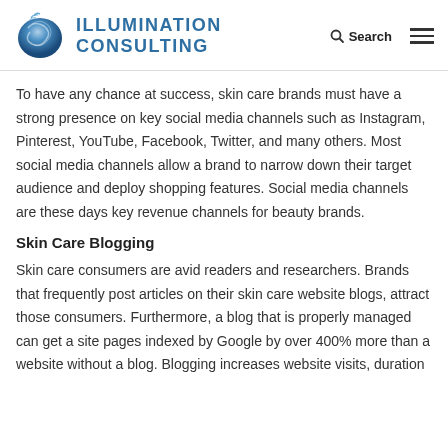Illumination Consulting
To have any chance at success, skin care brands must have a strong presence on key social media channels such as Instagram, Pinterest, YouTube, Facebook, Twitter, and many others. Most social media channels allow a brand to narrow down their target audience and deploy shopping features. Social media channels are these days key revenue channels for beauty brands.
Skin Care Blogging
Skin care consumers are avid readers and researchers. Brands that frequently post articles on their skin care website blogs, attract those consumers. Furthermore, a blog that is properly managed can get a site pages indexed by Google by over 400% more than a website without a blog. Blogging increases website visits, duration